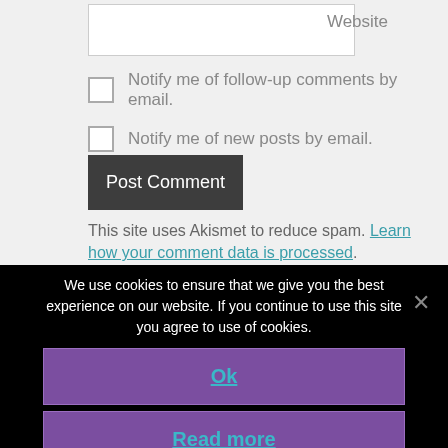Website
Notify me of follow-up comments by email.
Notify me of new posts by email.
Post Comment
This site uses Akismet to reduce spam. Learn how your comment data is processed.
We use cookies to ensure that we give you the best experience on our website. If you continue to use this site you agree to use of cookies.
Ok
Read more